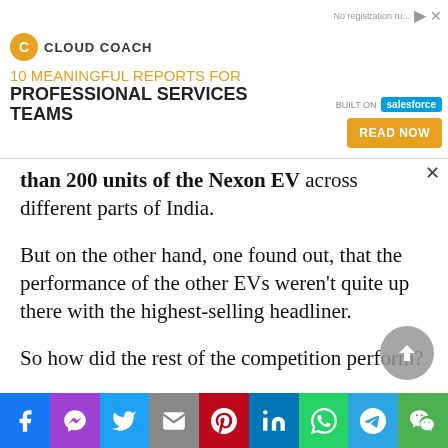[Figure (screenshot): Cloud Coach advertisement banner with Salesforce logo and 'Read Now' button. Text: '10 MEANINGFUL REPORTS FOR PROFESSIONAL SERVICES TEAMS']
than 200 units of the Nexon EV across different parts of India.
But on the other hand, one found out, that the performance of the other EVs weren't quite up there with the highest-selling headliner.
So how did the rest of the competition perform?
A total of 119 units of ZS EV were sold last month, less than half of Nexon EV's figures. Its sales
[Figure (infographic): Social sharing bar with icons: Facebook, Messenger, Twitter, Gmail, Pinterest, LinkedIn, WhatsApp, Telegram, WeChat]